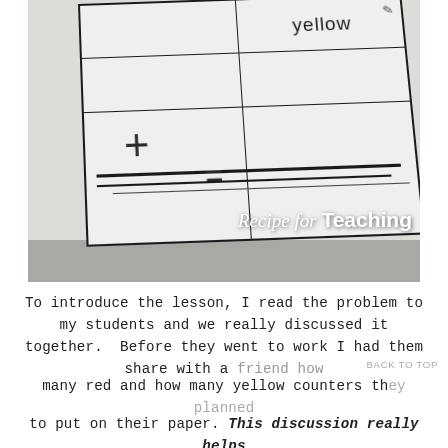[Figure (photo): Close-up photograph of a worksheet/anchor chart on a table showing a math addition template with grid cells. The word 'yellow' is visible in the top-right cell, and large + and = symbols appear at the bottom of the worksheet. A 'Recipe for Teaching' watermark is overlaid at the bottom right.]
To introduce the lesson, I read the problem to my students and we really discussed it together. Before they went to work I had them share with a friend how many red and how many yellow counters they planned to put on their paper. This discussion really helps